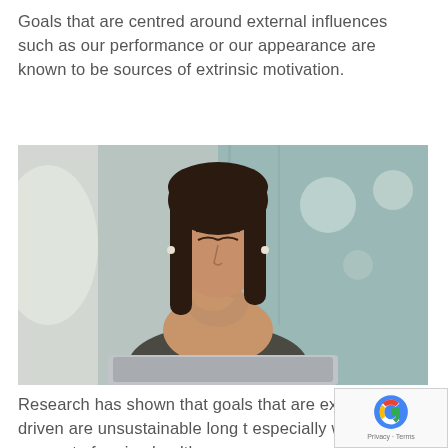Goals that are centred around external influences such as our performance or our appearance are known to be sources of extrinsic motivation.
[Figure (photo): A woman sitting at a desk with a laptop, eyes closed, hands clasped together raised to her face in a stressed or contemplative pose, office corridor background with bokeh lighting.]
Research has shown that goals that are extrinsically driven are unsustainable long t especially when it comes to forming healthy